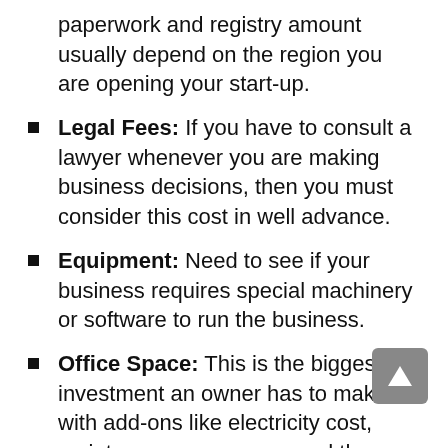paperwork and registry amount usually depend on the region you are opening your start-up.
Legal Fees: If you have to consult a lawyer whenever you are making business decisions, then you must consider this cost in well advance.
Equipment: Need to see if your business requires special machinery or software to run the business.
Office Space: This is the biggest investment an owner has to make with add-ons like electricity cost, maintenance expenses, and the internet.
Supplies: If the production requires some